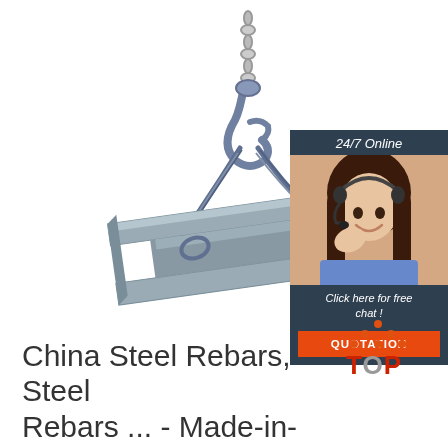[Figure (photo): A steel I-beam suspended by wire rope and a crane hook/chain against a white background, with a customer service chat widget in the upper right showing a woman with a headset, '24/7 Online' header, 'Click here for free chat!' text, and an orange QUOTATION button]
[Figure (logo): A 'TOP' logo with orange dotted triangle above the word TOP in red/orange text]
China Steel Rebars, Steel Rebars ... - Made-in-